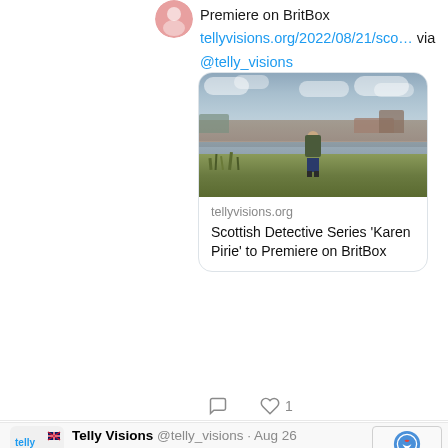Premiere on BritBox
tellyvisions.org/2022/08/21/sco… via @telly_visions
[Figure (photo): A woman standing in a grassy field with a town and cloudy sky in the background. Link preview card for tellyvisions.org article: Scottish Detective Series 'Karen Pirie' to Premiere on BritBox]
tellyvisions.org
Scottish Detective Series 'Karen Pirie' to Premiere on BritBox
1 like
[Figure (logo): Telly Visions logo with UK flag icon]
Telly Visions @telly_visions · Aug 26
It's the end of an era: The final season of #DocMartin will arrive on @AcornTV this Fall,